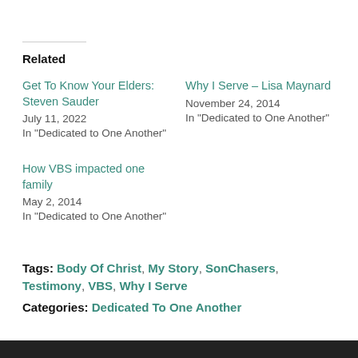Related
Get To Know Your Elders: Steven Sauder
July 11, 2022
In "Dedicated to One Another"
Why I Serve – Lisa Maynard
November 24, 2014
In "Dedicated to One Another"
How VBS impacted one family
May 2, 2014
In "Dedicated to One Another"
Tags: Body Of Christ, My Story, SonChasers, Testimony, VBS, Why I Serve
Categories: Dedicated To One Another